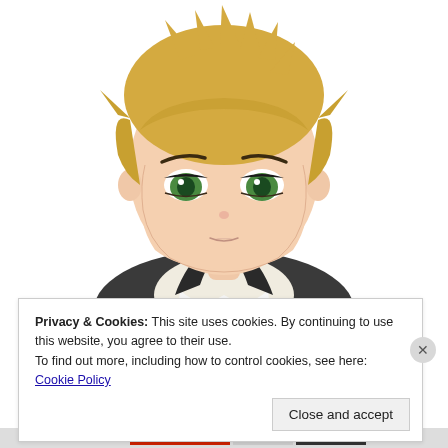[Figure (illustration): Anime-style illustration of a young male character with short spiky blonde hair, green eyes, wearing a white collared shirt and dark jacket. The character is shown from the shoulders up against a white background, with a calm, slightly stern expression.]
Privacy & Cookies: This site uses cookies. By continuing to use this website, you agree to their use.
To find out more, including how to control cookies, see here: Cookie Policy
Close and accept